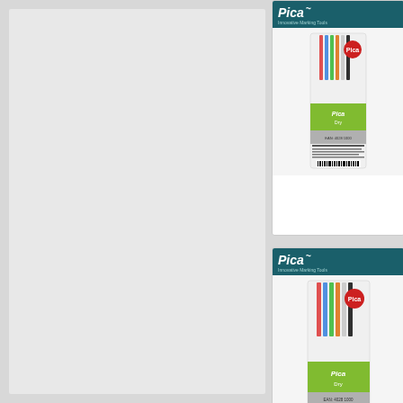[Figure (photo): Large light gray rectangular panel on the left side of the page, likely a product display area or blank space]
[Figure (photo): Top right product card showing Pica brand marking tools. Displays Pica logo on teal/dark green header, a blister pack of colored pencils/marking tools with green bottom packaging labeled Pica Dry, descriptive text in multiple languages, and a barcode at the bottom.]
[Figure (photo): Bottom right product card showing Pica brand marking tools. Same layout as top card: Pica logo on teal/dark green header, blister pack of colored pencils/marking tools with green bottom packaging labeled Pica Dry, multilingual product description text, and a barcode at the bottom.]